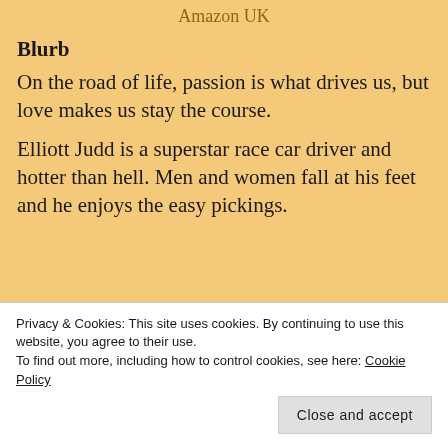Amazon UK
Blurb
On the road of life, passion is what drives us, but love makes us stay the course.
Elliott Judd is a superstar race car driver and hotter than hell. Men and women fall at his feet and he enjoys the easy pickings.
Privacy & Cookies: This site uses cookies. By continuing to use this website, you agree to their use.
To find out more, including how to control cookies, see here: Cookie Policy
Close and accept